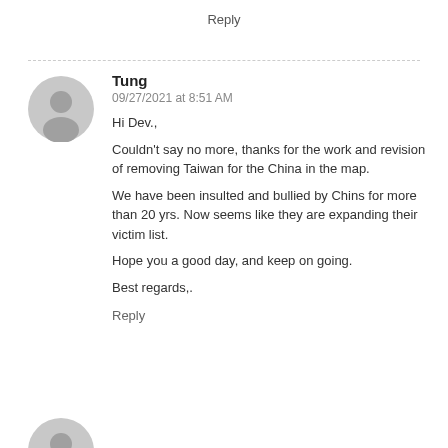Reply
Tung
09/27/2021 at 8:51 AM

Hi Dev.,

Couldn't say no more, thanks for the work and revision of removing Taiwan for the China in the map.

We have been insulted and bullied by Chins for more than 20 yrs. Now seems like they are expanding their victim list.

Hope you a good day, and keep on going.

Best regards,.
Reply